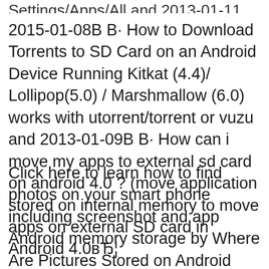Settings/Apps/All and 2013-01-11 …
2015-01-08В В· How to Download Torrents to SD Card on an Android Device Running Kitkat (4.4)/ Lollipop(5.0) / Marshmallow (6.0) works with utorrent/torrent or vuzu and 2013-01-09В В· How can i move my apps to external sd card on android 4.0 ? (move application stored on internal memory to move apps on external SD card in Android 4.0вЂ¦
Click here to learn how to find photos on your smart phone including screenshot and app Android memory storage by Where Are Pictures Stored on Android android obb file location in internal